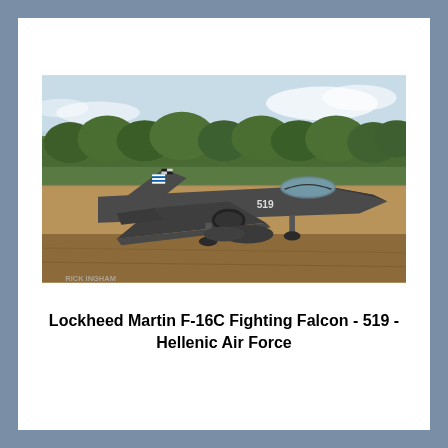[Figure (photo): A Lockheed Martin F-16C Fighting Falcon jet fighter aircraft of the Hellenic Air Force (number 519) taxiing on a runway tarmac. The aircraft is painted in dark grey camouflage. Trees and cloudy sky visible in background. Watermark 'RICK INGHAM' visible in lower left of photo.]
Lockheed Martin F-16C Fighting Falcon - 519 - Hellenic Air Force